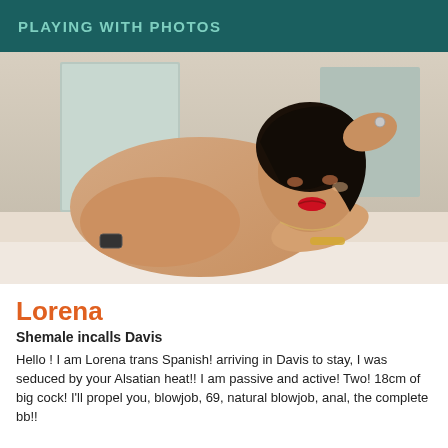PLAYING WITH PHOTOS
[Figure (photo): A woman with dark hair posing on a bed, smiling with red lipstick, wearing a wristwatch and bracelet.]
Lorena
Shemale incalls Davis
Hello ! I am Lorena trans Spanish! arriving in Davis to stay, I was seduced by your Alsatian heat!! I am passive and active! Two! 18cm of big cock! I'll propel you, blowjob, 69, natural blowjob, anal, the complete bb!!